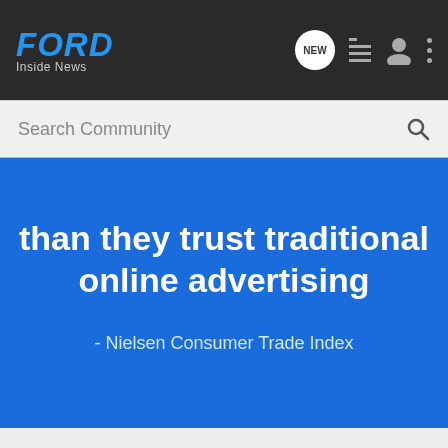FORD Inside News
Search Community
than they trust traditional online advertising
- Nielsen Consumer Trade Index
How to Get Started?
It's simple & easy. Choose a plan that suits your business needs.